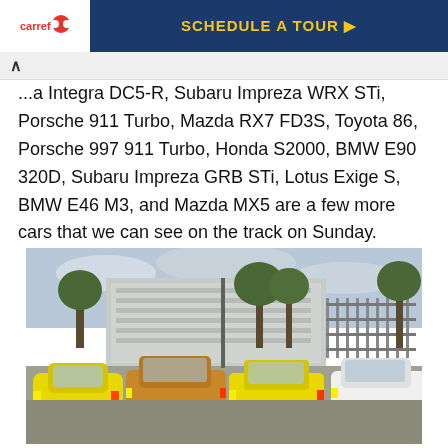[Figure (screenshot): Advertisement banner with logo on left and 'SCHEDULE A TOUR' call-to-action button on dark blue background]
...a Integra DC5-R, Subaru Impreza WRX STi, Porsche 911 Turbo, Mazda RX7 FD3S, Toyota 86, Porsche 997 911 Turbo, Honda S2000, BMW E90 320D, Subaru Impreza GRB STi, Lotus Exige S, BMW E46 M3, and Mazda MX5 are a few more cars that we can see on the track on Sunday.
[Figure (photo): Four sports cars parked in a lot in front of an industrial building with trees. From left to right: yellow Mini Cooper, bronze/gold Nissan GT-R, yellow Porsche 911 GT3, white Nissan GT-R.]